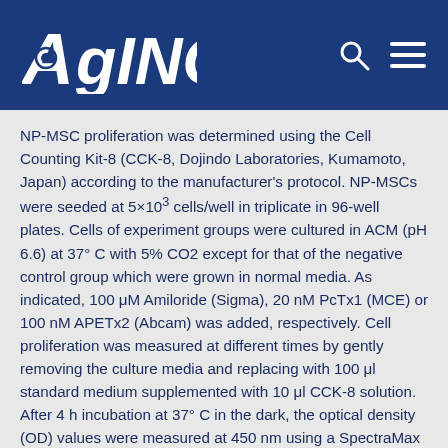AGING
NP-MSC proliferation was determined using the Cell Counting Kit-8 (CCK-8, Dojindo Laboratories, Kumamoto, Japan) according to the manufacturer's protocol. NP-MSCs were seeded at 5×10³ cells/well in triplicate in 96-well plates. Cells of experiment groups were cultured in ACM (pH 6.6) at 37° C with 5% CO2 except for that of the negative control group which were grown in normal media. As indicated, 100 μM Amiloride (Sigma), 20 nM PcTx1 (MCE) or 100 nM APETx2 (Abcam) was added, respectively. Cell proliferation was measured at different times by gently removing the culture media and replacing with 100 μl standard medium supplemented with 10 μl CCK-8 solution. After 4 h incubation at 37° C in the dark, the optical density (OD) values were measured at 450 nm using a SpectraMax microplate reader (Molecular Devices, USA).